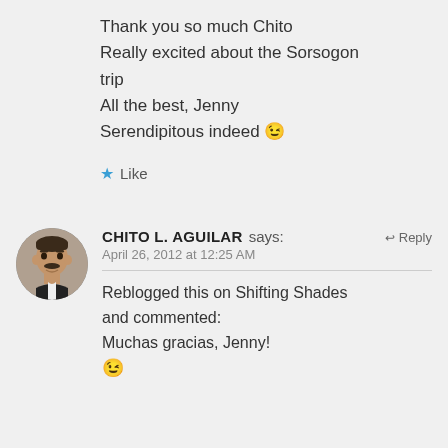Thank you so much Chito
Really excited about the Sorsogon trip
All the best, Jenny
Serendipitous indeed 😉
★ Like
CHITO L. AGUILAR says:   ↩ Reply
April 26, 2012 at 12:25 AM
Reblogged this on Shifting Shades and commented:
Muchas gracias, Jenny!
😉